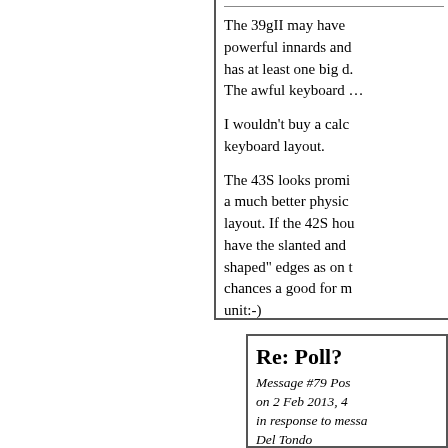The 39gII may have powerful innards and has at least one big d. The awful keyboard ...
I wouldn't buy a calc keyboard layout.
The 43S looks promi a much better physic layout. If the 42S hou have the slanted and shaped" edges as on t chances a good for m unit:-)
Re: Poll?
Message #79 Pos on 2 Feb 2013, 4 in response to messa Del Tondo
Quote: